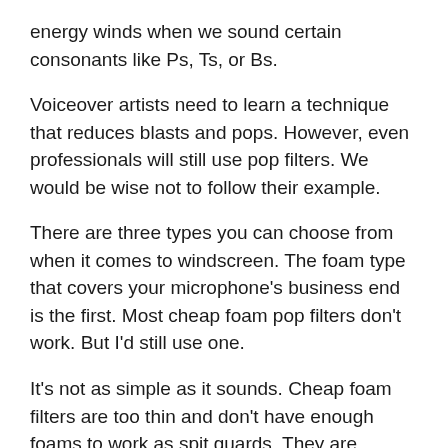energy winds when we sound certain consonants like Ps, Ts, or Bs.
Voiceover artists need to learn a technique that reduces blasts and pops. However, even professionals will still use pop filters. We would be wise not to follow their example.
There are three types you can choose from when it comes to windscreen. The foam type that covers your microphone's business end is the first. Most cheap foam pop filters don't work. But I'd still use one.
It's not as simple as it sounds. Cheap foam filters are too thin and don't have enough foams to work as spit guards. They are designed to protect the microphone capsule and keep it dry.
Spraying your equipment with a disinfectant is possible if